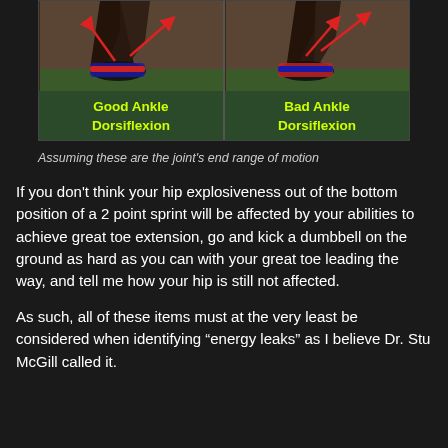[Figure (photo): Side-by-side comparison of two ankle positions. Left panel shows 'Good Ankle Dorsiflexion' with red arrows indicating the angle. Right panel shows 'Bad Ankle Dorsiflexion' with red arrows indicating the angle. Both images show a person's lower legs and feet in athletic shoes during a sprint stance.]
Assuming these are the joint's end range of motion
If you don't think your hip explosiveness out of the bottom position of a 2 point sprint will be affected by your abilities to achieve great toe extension, go and kick a dumbbell on the ground as hard as you can with your great toe leading the way, and tell me how your hip is still not affected.
As such, all of these items must at the very least be considered when identifying “energy leaks” as I believe Dr. Stu McGill called it.